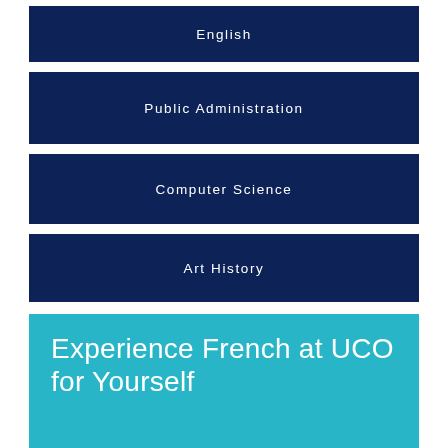English
Public Administration
Computer Science
Art History
Experience French at UCO for Yourself